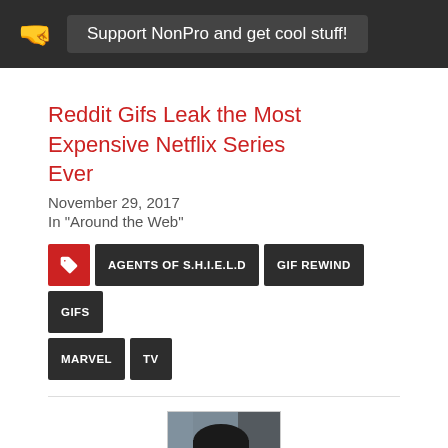Support NonPro and get cool stuff!
Reddit Gifs Leak the Most Expensive Netflix Series Ever
November 29, 2017
In "Around the Web"
AGENTS OF S.H.I.E.L.D   GIF REWIND   GIFS   MARVEL   TV
[Figure (photo): Author photo of Matt, an Asian man looking down slightly, photographed indoors]
About Matt > 37 Articles